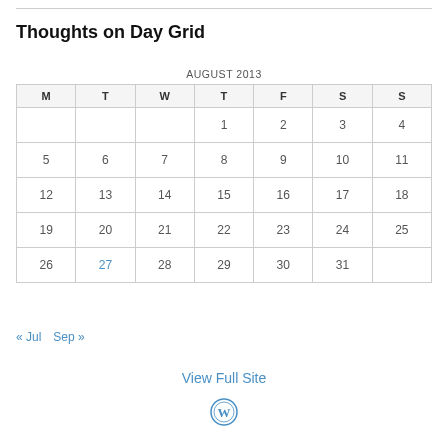Thoughts on Day Grid
| M | T | W | T | F | S | S |
| --- | --- | --- | --- | --- | --- | --- |
|  |  |  | 1 | 2 | 3 | 4 |
| 5 | 6 | 7 | 8 | 9 | 10 | 11 |
| 12 | 13 | 14 | 15 | 16 | 17 | 18 |
| 19 | 20 | 21 | 22 | 23 | 24 | 25 |
| 26 | 27 | 28 | 29 | 30 | 31 |  |
« Jul   Sep »
View Full Site